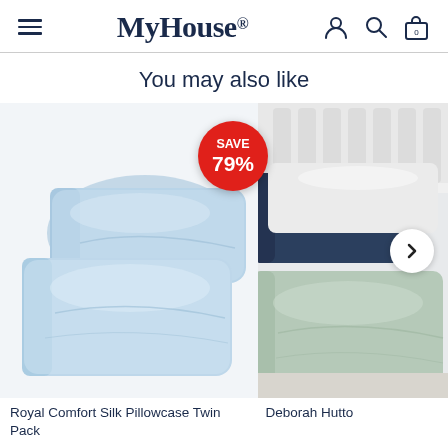MyHouse
You may also like
[Figure (photo): Two light blue satin/silk pillowcases stacked, with a red circular badge showing SAVE 79%]
[Figure (photo): Bed with stacked pillowcases in navy, white, and sage/mint green colors, partially cropped, with a right-arrow navigation button]
Royal Comfort Silk Pillowcase Twin Pack
Deborah Hutto